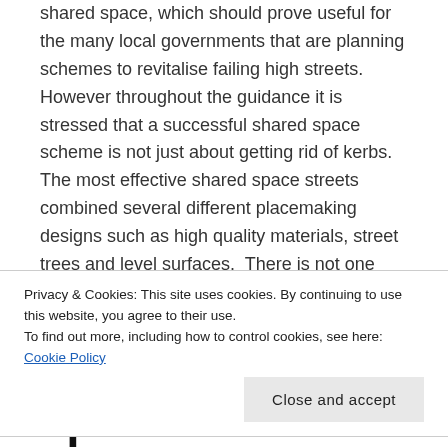shared space, which should prove useful for the many local governments that are planning schemes to revitalise failing high streets.  However throughout the guidance it is stressed that a successful shared space scheme is not just about getting rid of kerbs.  The most effective shared space streets combined several different placemaking designs such as high quality materials, street trees and level surfaces.  There is not one 'silver bullet' that will make a street more walkable, but rather a holistic approach to street design is most likely to achieve the best results.
Privacy & Cookies: This site uses cookies. By continuing to use this website, you agree to their use.
To find out more, including how to control cookies, see here: Cookie Policy
Close and accept
Does shared space